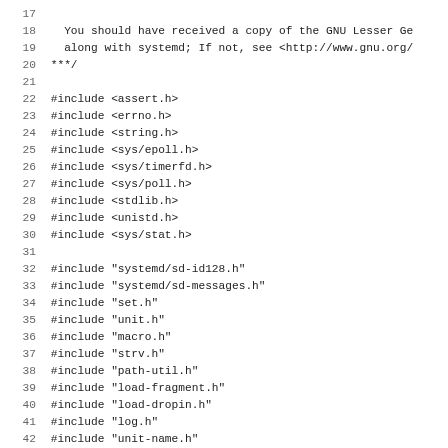Source code listing lines 17-49, C source file with #include directives for systemd unit source.